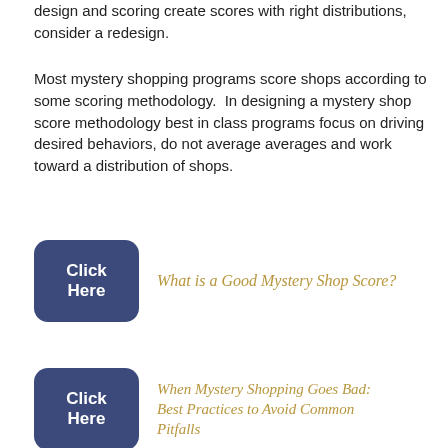design and scoring create scores with right distributions, consider a redesign.
Most mystery shopping programs score shops according to some scoring methodology.  In designing a mystery shop score methodology best in class programs focus on driving desired behaviors, do not average averages and work toward a distribution of shops.
[Figure (other): Blue 'Click Here' button linking to 'What is a Good Mystery Shop Score?']
What is a Good Mystery Shop Score?
[Figure (other): Blue 'Click Here' button linking to 'When Mystery Shopping Goes Bad: Best Practices to Avoid Common Pitfalls']
When Mystery Shopping Goes Bad: Best Practices to Avoid Common Pitfalls